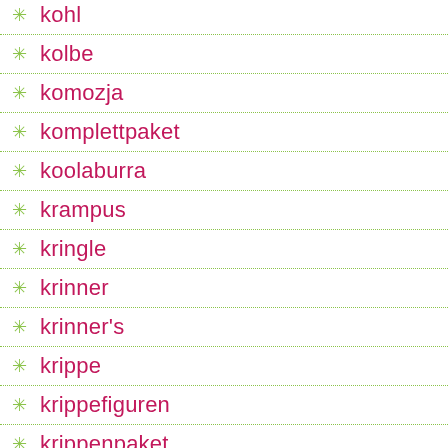kohl
kolbe
komozja
komplettpaket
koolaburra
krampus
kringle
krinner
krinner's
krippe
krippefiguren
krippenpaket
kroger
künstlicher